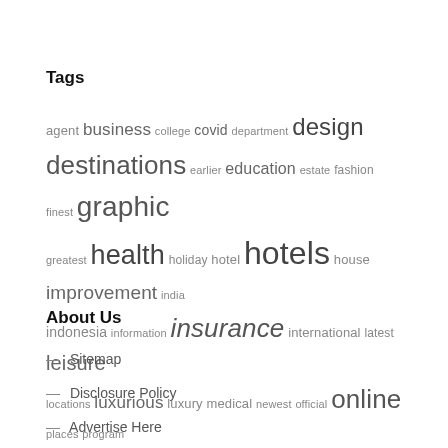Tags
agent business college covid department design destinations earlier education estate fashion finest graphic greatest health holiday hotel hotels house improvement india indonesia information insurance international latest leisure locations luxurious luxury medical newest official online places program reserving resorts technology travel university updates vacation world worldwide
About Us
Sitemap
Disclosure Policy
Advertise Here